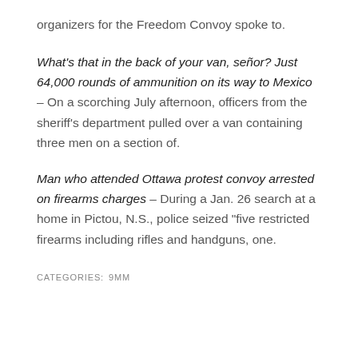organizers for the Freedom Convoy spoke to.
What’s that in the back of your van, señor? Just 64,000 rounds of ammunition on its way to Mexico – On a scorching July afternoon, officers from the sheriff’s department pulled over a van containing three men on a section of.
Man who attended Ottawa protest convoy arrested on firearms charges – During a Jan. 26 search at a home in Pictou, N.S., police seized “five restricted firearms including rifles and handguns, one.
CATEGORIES: 9MM